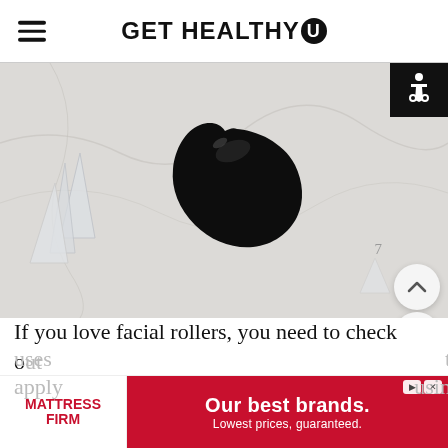GET HEALTHY U
[Figure (photo): A black obsidian gua sha stone and clear quartz crystals on a white marble surface.]
If you love facial rollers, you need to check out gua sha. Gua sha is a facial trend in the wellness world but the history of gua sha goes back centuries. It’s a technique where a person uses to apply using